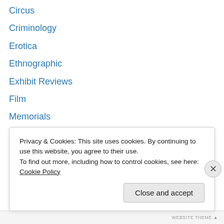Circus
Criminology
Erotica
Ethnographic
Exhibit Reviews
Film
Memorials
Military
Myth Debunking
Popular Culture
Religion
Research
Sailors/Maritime
Privacy & Cookies: This site uses cookies. By continuing to use this website, you agree to their use.
To find out more, including how to control cookies, see here: Cookie Policy
Close and accept